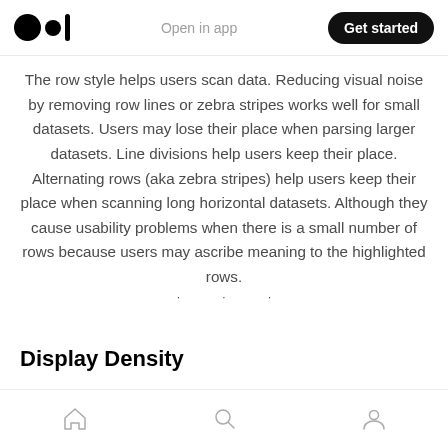Medium app header with logo, Open in app, Get started
The row style helps users scan data. Reducing visual noise by removing row lines or zebra stripes works well for small datasets. Users may lose their place when parsing larger datasets. Line divisions help users keep their place. Alternating rows (aka zebra stripes) help users keep their place when scanning long horizontal datasets. Although they cause usability problems when there is a small number of rows because users may ascribe meaning to the highlighted rows.
· · ·
Display Density
Bottom navigation bar with home, search, and profile icons